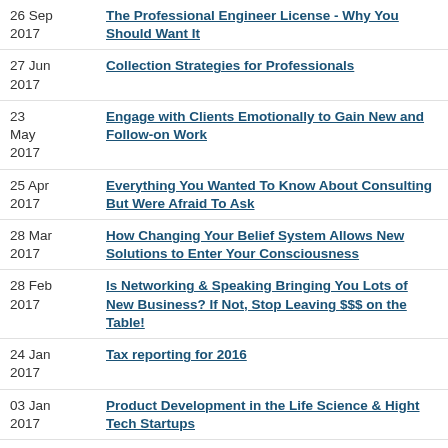26 Sep 2017 | The Professional Engineer License - Why You Should Want It
27 Jun 2017 | Collection Strategies for Professionals
23 May 2017 | Engage with Clients Emotionally to Gain New and Follow-on Work
25 Apr 2017 | Everything You Wanted To Know About Consulting But Were Afraid To Ask
28 Mar 2017 | How Changing Your Belief System Allows New Solutions to Enter Your Consciousness
28 Feb 2017 | Is Networking & Speaking Bringing You Lots of New Business? If Not, Stop Leaving $$$ on the Table!
24 Jan 2017 | Tax reporting for 2016
03 Jan 2017 | Product Development in the Life Science & Hight Tech Startups